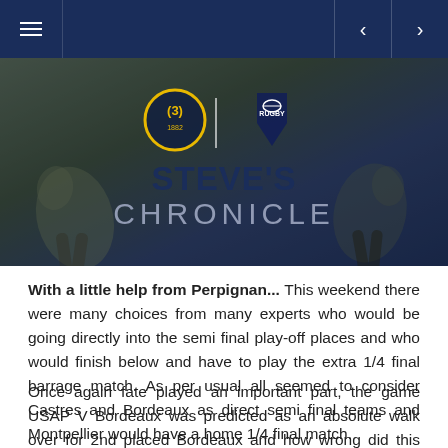Navigation bar with menu icon and arrows
[Figure (illustration): Steve's Chronicle rugby banner with two team logos and player action photo background. Text reads STEVE'S CHRONICLE in dark navy and grey lettering.]
With a little help from Perpignan... This weekend there were many choices from many experts who would be going directly into the semi final play-off places and who would finish below and have to play the extra 1/4 final barrage match. As per usual all seemed to consider Castres and Bordeaux as direct semi final teams and Montpellier would have a home 1/4 final match.
Once again fate played an important part, the game USAP V Bordeaux was predicted as an absolute walk over for 2nd placed Bordeaux and how wrong did this didn't happen. Perpignan...